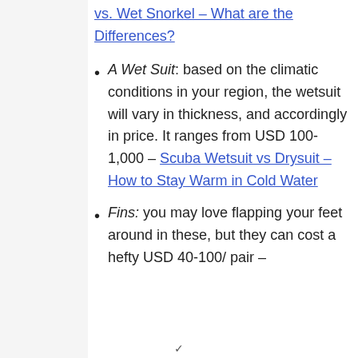vs. Wet Snorkel – What are the Differences? (link)
A Wet Suit: based on the climatic conditions in your region, the wetsuit will vary in thickness, and accordingly in price. It ranges from USD 100-1,000 – Scuba Wetsuit vs Drysuit – How to Stay Warm in Cold Water (link)
Fins: you may love flapping your feet around in these, but they can cost a hefty USD 40-100/ pair –